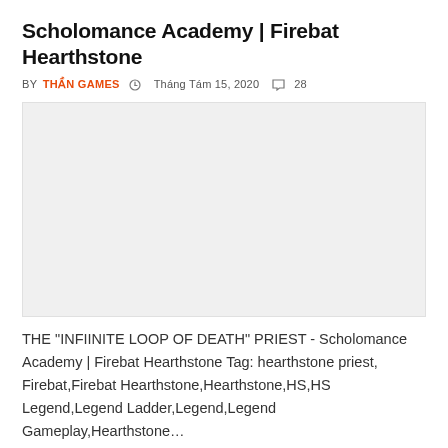Scholomance Academy | Firebat Hearthstone
BY THẦN GAMES  Tháng Tám 15, 2020  28
[Figure (photo): Gray placeholder image for a video thumbnail]
THE "INFIINITE LOOP OF DEATH" PRIEST - Scholomance Academy | Firebat Hearthstone Tag: hearthstone priest, Firebat,Firebat Hearthstone,Hearthstone,HS,HS Legend,Legend Ladder,Legend,Legend Gameplay,Hearthstone...
QUEM PERDER SE FERRA! – Hearthstone